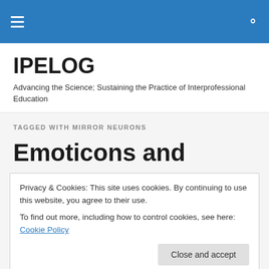IPELOG — navigation and search bar
IPELOG
Advancing the Science; Sustaining the Practice of Interprofessional Education
TAGGED WITH MIRROR NEURONS
Emoticons and
Privacy & Cookies: This site uses cookies. By continuing to use this website, you agree to their use.
To find out more, including how to control cookies, see here: Cookie Policy
Close and accept
Interprofessional Practice and Education (IPE) helps